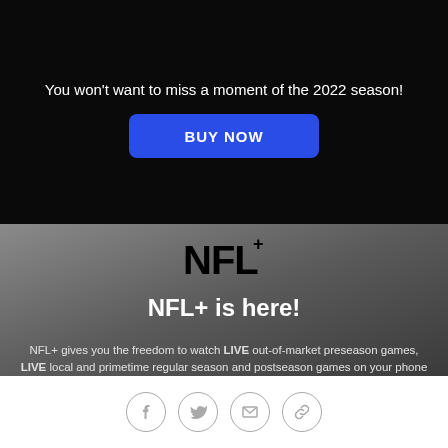You won't want to miss a moment of the 2022 season!
[Figure (other): Blue BUY NOW button]
[Figure (logo): NFL+ logo in bold black text on gradient background]
NFL+ is here!
NFL+ gives you the freedom to watch LIVE out-of-market preseason games, LIVE local and primetime regular season and postseason games on your phone or tablet, the best NFL programming on-demand, and MORE!
[Figure (other): Blue MORE button]
[Figure (other): Social media icons: Facebook, Twitter, Email, Link]